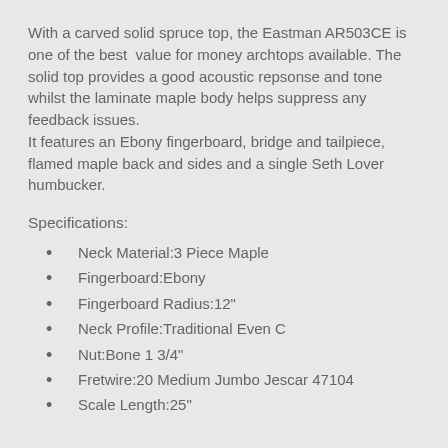With a carved solid spruce top, the Eastman AR503CE is one of the best value for money archtops available. The solid top provides a good acoustic repsonse and tone whilst the laminate maple body helps suppress any feedback issues. It features an Ebony fingerboard, bridge and tailpiece, flamed maple back and sides and a single Seth Lover humbucker.
Specifications:
Neck Material:3 Piece Maple
Fingerboard:Ebony
Fingerboard Radius:12"
Neck Profile:Traditional Even C
Nut:Bone 1 3/4"
Fretwire:20 Medium Jumbo Jescar 47104
Scale Length:25"